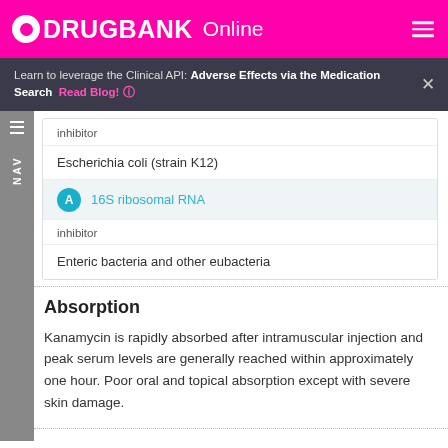DRUGBANK Online
Learn to leverage the Clinical API: Adverse Effects via the Medication Search   Read Blog!
inhibitor
Escherichia coli (strain K12)
A  16S ribosomal RNA
inhibitor
Enteric bacteria and other eubacteria
Absorption
Kanamycin is rapidly absorbed after intramuscular injection and peak serum levels are generally reached within approximately one hour. Poor oral and topical absorption except with severe skin damage.